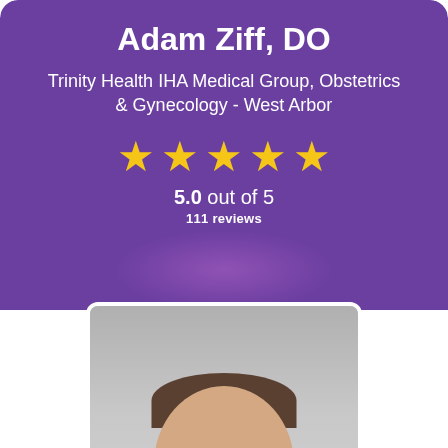Adam Ziff, DO
Trinity Health IHA Medical Group, Obstetrics & Gynecology - West Arbor
[Figure (infographic): Five gold star rating icons]
5.0 out of 5
111 reviews
[Figure (photo): Professional headshot photo of Dr. Adam Ziff, a middle-aged man with short dark hair, wearing a dark suit jacket, against a gray background]